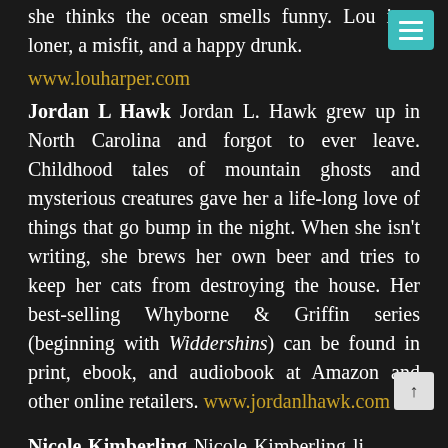she thinks the ocean smells funny. Lou is a loner, a misfit, and a happy drunk.
www.louharper.com
Jordan L Hawk Jordan L. Hawk grew up in North Carolina and forgot to ever leave. Childhood tales of mountain ghosts and mysterious creatures gave her a life-long love of things that go bump in the night. When she isn't writing, she brews her own beer and tries to keep her cats from destroying the house. Her best-selling Whyborne & Griffin series (beginning with Widdershins) can be found in print, ebook, and audiobook at Amazon and other online retailers. www.jordanlhawk.com
Nicole Kimberling Nicole Kimberling lives in Bellingham, Washington with her wife, Dawn Kimberling, two bad cats as well as a wide and